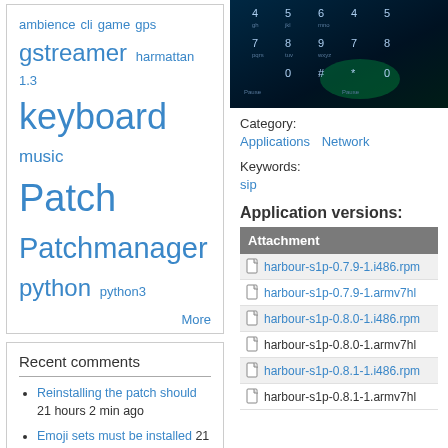[Figure (other): Tag cloud with tags: ambience, cli, game, gps, gstreamer, harmattan, 1.3, keyboard, music, Patch, Patchmanager, python, python3, with a More link]
More
Recent comments
Reinstalling the patch should 21 hours 2 min ago
Emoji sets must be installed 21 hours 5 min ago
AArch64 download: https:/ 22 hours 21 min ago
AArch64 download: https:/ 22 hours 24 min ago
[Figure (screenshot): Phone keypad/lock screen screenshot with dark blue background showing number keys]
Category:
Applications   Network
Keywords:
sip
Application versions:
| Attachment |
| --- |
| harbour-s1p-0.7.9-1.i486.rpm |
| harbour-s1p-0.7.9-1.armv7hl |
| harbour-s1p-0.8.0-1.i486.rpm |
| harbour-s1p-0.8.0-1.armv7hl |
| harbour-s1p-0.8.1-1.i486.rpm |
| harbour-s1p-0.8.1-1.armv7hl |